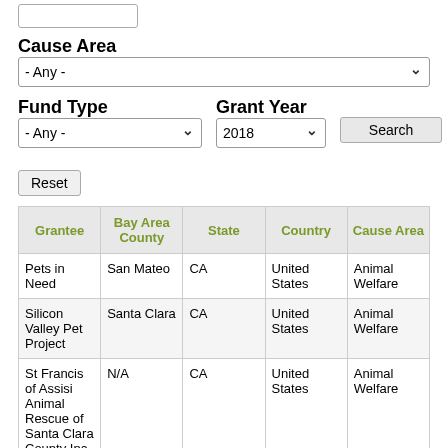Cause Area
- Any - (dropdown)
Fund Type
Grant Year
- Any - (dropdown) | 2018 (dropdown) | Search (button)
Reset (button)
| Grantee | Bay Area County | State | Country | Cause Area |
| --- | --- | --- | --- | --- |
| Pets in Need | San Mateo | CA | United States | Animal Welfare |
| Silicon Valley Pet Project | Santa Clara | CA | United States | Animal Welfare |
| St Francis of Assisi Animal Rescue of Santa Clara County Inc | N/A | CA | United States | Animal Welfare |